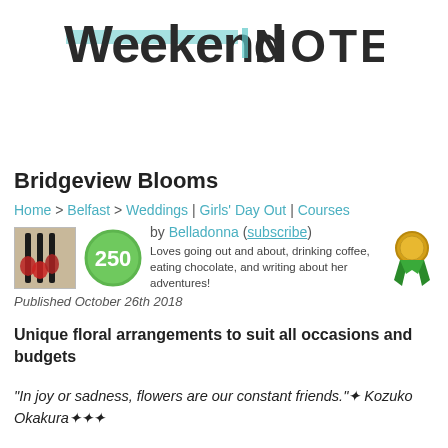[Figure (logo): Weekend Notes logo with stylized handwritten 'Weekend' in dark text with teal highlight bar and bold uppercase 'NOTES' in dark gray]
Bridgeview Blooms
Home > Belfast > Weddings | Girls' Day Out | Courses
[Figure (photo): Small thumbnail photo of floral arrangement with dark stems and red flowers, beside a green circle badge showing '250', and a gold/green award ribbon on the right]
by Belladonna (subscribe)
Loves going out and about, drinking coffee, eating chocolate, and writing about her adventures!
Published October 26th 2018
Unique floral arrangements to suit all occasions and budgets
"In joy or sadness, flowers are our constant friends." Kozuko Okakura